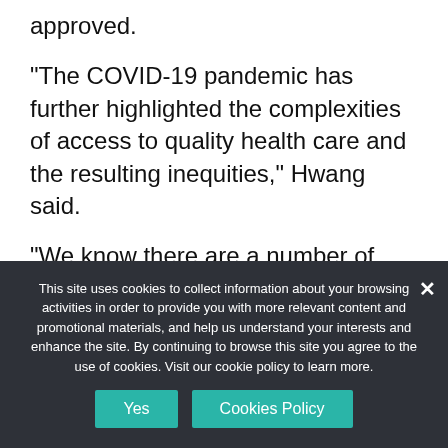approved.
“The COVID-19 pandemic has further highlighted the complexities of access to quality health care and the resulting inequities,” Hwang said.
“We know there are a number of hurdles countries have to overcome to get access to our medicines. This is why we initially selected five pilot countries to identify and
This site uses cookies to collect information about your browsing activities in order to provide you with more relevant content and promotional materials, and help us understand your interests and enhance the site. By continuing to browse this site you agree to the use of cookies. Visit our cookie policy to learn more.
Yes
Cookies Policy